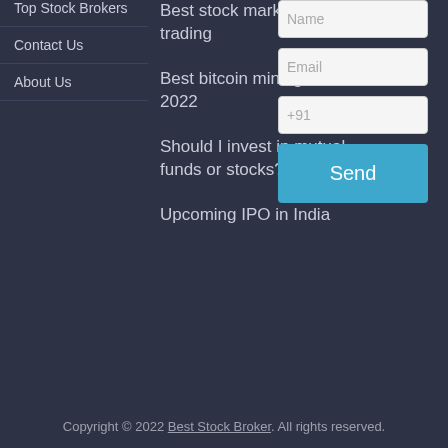Top Stock Brokers
Contact Us
About Us
Best stock market app for trading
Best bitcoin mining software 2022
Should I invest in mutual funds or stocks?
Upcoming IPO in India
[Figure (other): Contact form with Name, Email, phone (+91) input fields and a Send button]
Copyright © 2022 Best Stock Broker. All rights reserved.